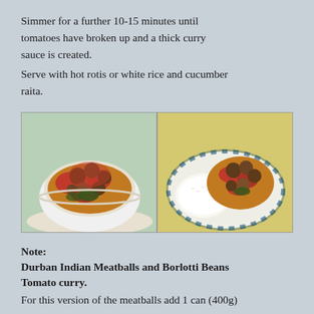Simmer for a further 10-15 minutes until tomatoes have broken up and a thick curry sauce is created.
Serve with hot rotis or white rice and cucumber raita.
[Figure (photo): Two side-by-side food photos: left shows a curry dish in a white bowl; right shows a curry dish with white rice on a blue and white plate.]
Note:
Durban Indian Meatballs and Borlotti Beans Tomato curry.
Tomato curry.
For this version of the meatballs add 1 can (400g)